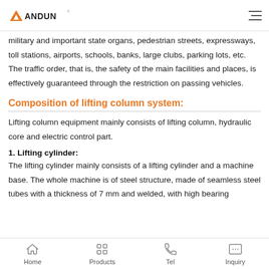ANDUN
military and important state organs, pedestrian streets, expressways, toll stations, airports, schools, banks, large clubs, parking lots, etc. The traffic order, that is, the safety of the main facilities and places, is effectively guaranteed through the restriction on passing vehicles.
Composition of lifting column system:
Lifting column equipment mainly consists of lifting column, hydraulic core and electric control part.
1. Lifting cylinder:
The lifting cylinder mainly consists of a lifting cylinder and a machine base. The whole machine is of steel structure, made of seamless steel tubes with a thickness of 7 mm and welded, with high bearing
Home  Products  Tel  Inquiry